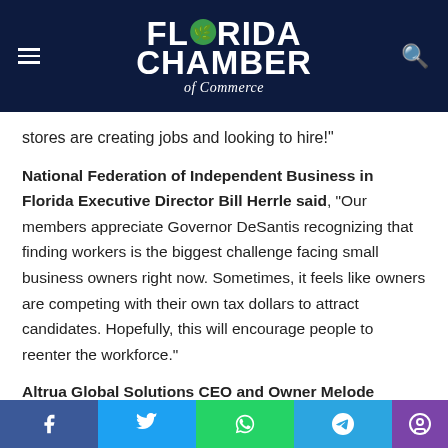Florida Chamber of Commerce
stores are creating jobs and looking to hire!"
National Federation of Independent Business in Florida Executive Director Bill Herrle said, “Our members appreciate Governor DeSantis recognizing that finding workers is the biggest challenge facing small business owners right now. Sometimes, it feels like owners are competing with their own tax dollars to attract candidates. Hopefully, this will encourage people to reenter the workforce.”
Altrua Global Solutions CEO and Owner Melode Smelko said, “Altrua is a supplier of signage to one of the world’s largest food retailers. We have been a mission-centric company t…
Facebook Twitter WhatsApp Telegram Accessibility